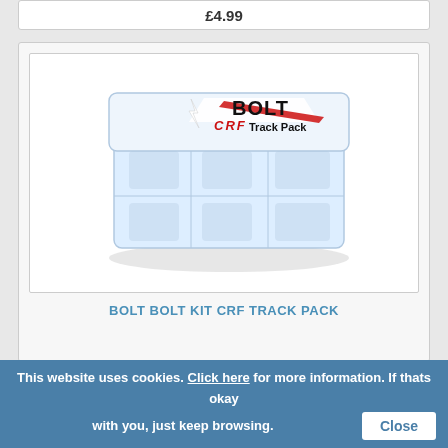£4.99
[Figure (photo): BOLT CRF Track Pack bolt kit in a clear plastic organizer case with red and black branding label on top]
BOLT BOLT KIT CRF TRACK PACK
£11.99
This website uses cookies. Click here for more information. If thats okay with you, just keep browsing.